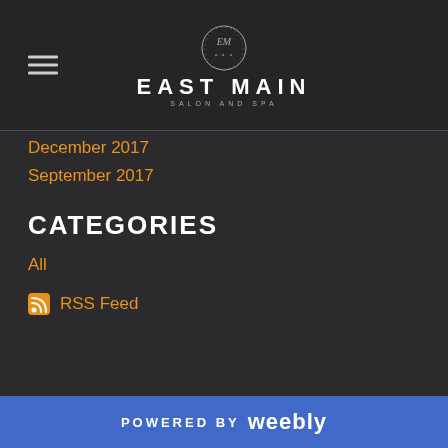[Figure (logo): East Main Salon and Spa logo with EM emblem and hamburger menu icon]
December 2017
September 2017
CATEGORIES
All
RSS Feed
POWERED BY weebly